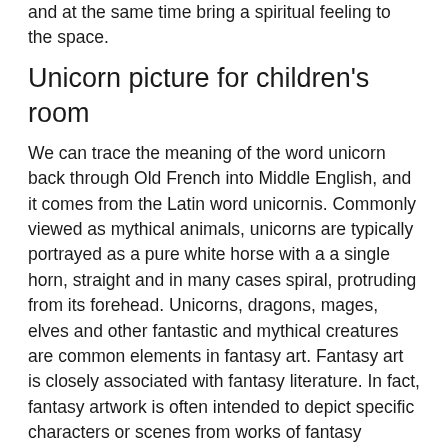and at the same time bring a spiritual feeling to the space.
Unicorn picture for children's room
We can trace the meaning of the word unicorn back through Old French into Middle English, and it comes from the Latin word unicornis. Commonly viewed as mythical animals, unicorns are typically portrayed as a pure white horse with a a single horn, straight and in many cases spiral, protruding from its forehead. Unicorns, dragons, mages, elves and other fantastic and mythical creatures are common elements in fantasy art. Fantasy art is closely associated with fantasy literature. In fact, fantasy artwork is often intended to depict specific characters or scenes from works of fantasy literature. Unicorn symbolism is associated with purity, freedom, gentleness, virginity, innocence, divinity, and magic. Christians believe that the unicorn symbol is that of Christ and Mother Mary